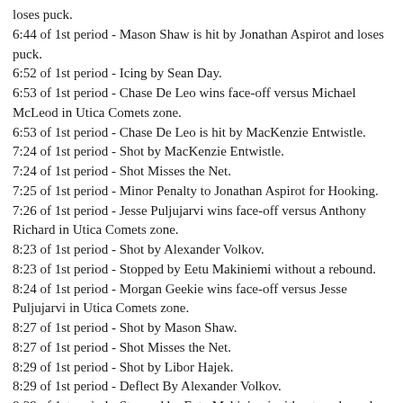loses puck.
6:44 of 1st period - Mason Shaw is hit by Jonathan Aspirot and loses puck.
6:52 of 1st period - Icing by Sean Day.
6:53 of 1st period - Chase De Leo wins face-off versus Michael McLeod in Utica Comets zone.
6:53 of 1st period - Chase De Leo is hit by MacKenzie Entwistle.
7:24 of 1st period - Shot by MacKenzie Entwistle.
7:24 of 1st period - Shot Misses the Net.
7:25 of 1st period - Minor Penalty to Jonathan Aspirot for Hooking.
7:26 of 1st period - Jesse Puljujarvi wins face-off versus Anthony Richard in Utica Comets zone.
8:23 of 1st period - Shot by Alexander Volkov.
8:23 of 1st period - Stopped by Eetu Makiniemi without a rebound.
8:24 of 1st period - Morgan Geekie wins face-off versus Jesse Puljujarvi in Utica Comets zone.
8:27 of 1st period - Shot by Mason Shaw.
8:27 of 1st period - Shot Misses the Net.
8:29 of 1st period - Shot by Libor Hajek.
8:29 of 1st period - Deflect By Alexander Volkov.
8:29 of 1st period - Stopped by Eetu Makiniemi without a rebound.
8:30 of 1st period - Quinton Byfield wins face-off versus Morgan Geekie in Utica Comets zone.
9:29 of 1st period - Icing by Pavel Gogolev.